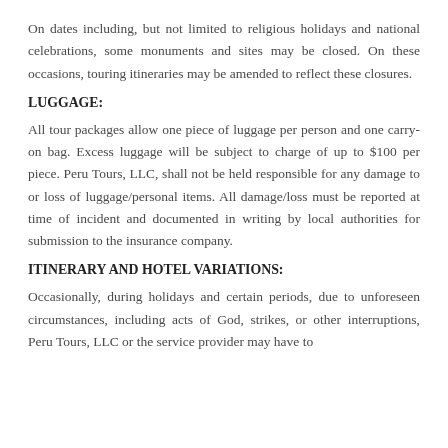On dates including, but not limited to religious holidays and national celebrations, some monuments and sites may be closed. On these occasions, touring itineraries may be amended to reflect these closures.
LUGGAGE:
All tour packages allow one piece of luggage per person and one carry-on bag. Excess luggage will be subject to charge of up to $100 per piece. Peru Tours, LLC, shall not be held responsible for any damage to or loss of luggage/personal items. All damage/loss must be reported at time of incident and documented in writing by local authorities for submission to the insurance company.
ITINERARY AND HOTEL VARIATIONS:
Occasionally, during holidays and certain periods, due to unforeseen circumstances, including acts of God, strikes, or other interruptions, Peru Tours, LLC or the service provider may have to